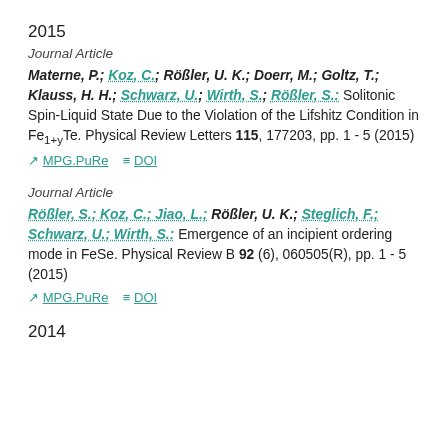2015
Journal Article
Materne, P.; Koz, C.; Rößler, U. K.; Doerr, M.; Goltz, T.; Klauss, H. H.; Schwarz, U.; Wirth, S.; Rößler, S.: Solitonic Spin-Liquid State Due to the Violation of the Lifshitz Condition in Fe1+yTe. Physical Review Letters 115, 177203, pp. 1 - 5 (2015)
MPG.PuRe   DOI
Journal Article
Rößler, S.; Koz, C.; Jiao, L.; Rößler, U. K.; Steglich, F.; Schwarz, U.; Wirth, S.: Emergence of an incipient ordering mode in FeSe. Physical Review B 92 (6), 060505(R), pp. 1 - 5 (2015)
MPG.PuRe   DOI
2014